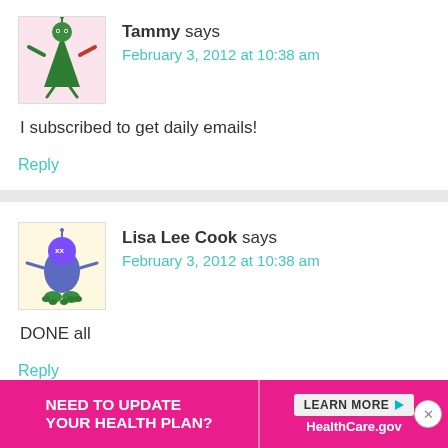Tammy says
February 3, 2012 at 10:38 am
I subscribed to get daily emails!
Reply
Lisa Lee Cook says
February 3, 2012 at 10:38 am
DONE all
Reply
[Figure (infographic): Ad banner: NEED TO UPDATE YOUR HEALTH PLAN? LEARN MORE HealthCare.gov]